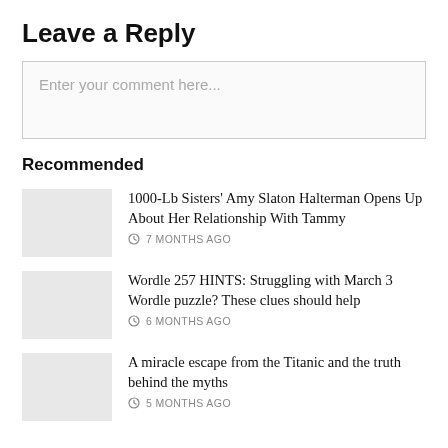Leave a Reply
Enter your comment here...
Recommended
1000-Lb Sisters' Amy Slaton Halterman Opens Up About Her Relationship With Tammy
7 MONTHS AGO
Wordle 257 HINTS: Struggling with March 3 Wordle puzzle? These clues should help
6 MONTHS AGO
A miracle escape from the Titanic and the truth behind the myths
5 MONTHS AGO